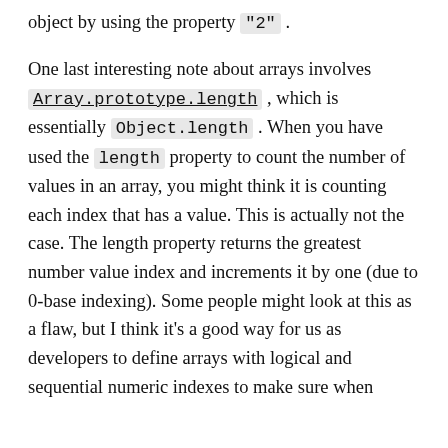object by using the property "2" .
One last interesting note about arrays involves Array.prototype.length , which is essentially Object.length . When you have used the length property to count the number of values in an array, you might think it is counting each index that has a value. This is actually not the case. The length property returns the greatest number value index and increments it by one (due to 0-base indexing). Some people might look at this as a flaw, but I think it's a good way for us as developers to define arrays with logical and sequential numeric indexes to make sure when